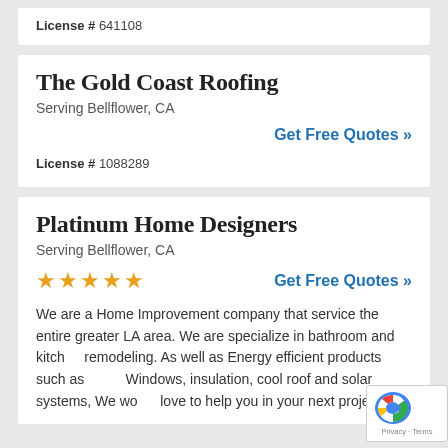License # 641108
The Gold Coast Roofing
Serving Bellflower, CA
Get Free Quotes »
License # 1088289
Platinum Home Designers
Serving Bellflower, CA
★★★★★
Get Free Quotes »
We are a Home Improvement company that service the entire greater LA area. We are specialize in bathroom and kitch remodeling. As well as Energy efficient products such as Windows, insulation, cool roof and solar systems, We wo love to help you in your next project!